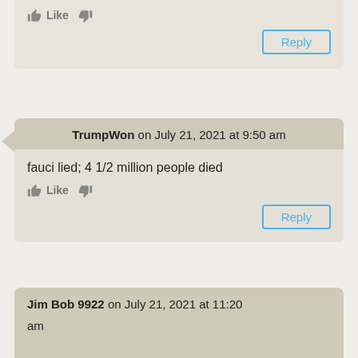Luis Lerner
Like [thumbs up] [thumbs down]
Reply
TrumpWon on July 21, 2021 at 9:50 am
fauci lied; 4 1/2 million people died
Like [thumbs up] [thumbs down]
Reply
Jim Bob 9922 on July 21, 2021 at 11:20 am